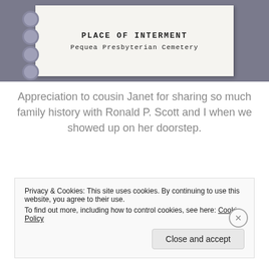[Figure (photo): Photograph of a spiral-bound notebook card showing 'PLACE OF INTERMENT' and 'Pequea Presbyterian Cemetery' in monospace type, against a grey/purple background.]
Appreciation to cousin Janet for sharing so much family history with Ronald P. Scott and I when we showed up on her doorstep.
Privacy & Cookies: This site uses cookies. By continuing to use this website, you agree to their use. To find out more, including how to control cookies, see here: Cookie Policy